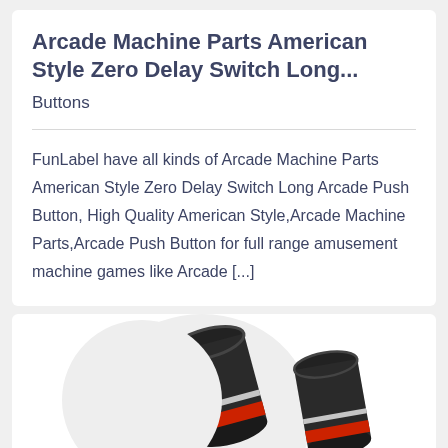Arcade Machine Parts American Style Zero Delay Switch Long...
Buttons
FunLabel have all kinds of Arcade Machine Parts American Style Zero Delay Switch Long Arcade Push Button, High Quality American Style,Arcade Machine Parts,Arcade Push Button for full range amusement machine games like Arcade [...]
[Figure (photo): Photo of arcade push buttons (black cylindrical components with red accents and wiring) on a white circle background]